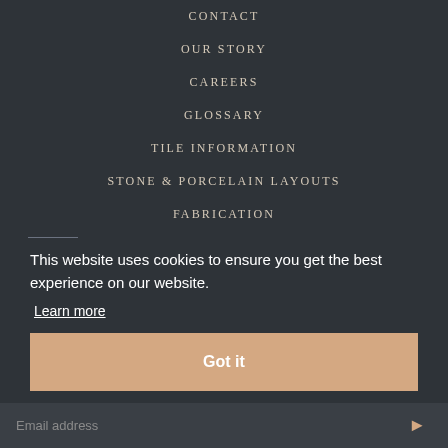CONTACT
OUR STORY
CAREERS
GLOSSARY
TILE INFORMATION
STONE & PORCELAIN LAYOUTS
FABRICATION
This website uses cookies to ensure you get the best experience on our website.
Learn more
Got it
Email address